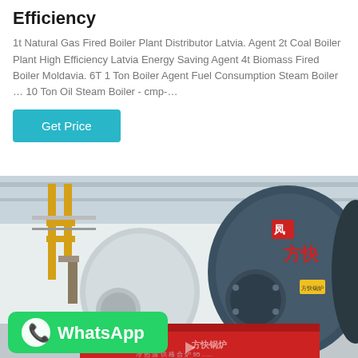Efficiency
1t Natural Gas Fired Boiler Plant Distributor Latvia. Agent 2t Coal Boiler Plant High Efficiency Latvia Energy Saving Agent 4t Biomass Fired Boiler Moldavia. 6T 1 Ton Boiler Agent Fuel Consumption Steam Boiler … 10 Ton Oil Steam Boiler - cmp-…
Get Price
[Figure (photo): Industrial boiler plant interior showing large cylindrical blue boilers with Chinese text branding (方快锅炉), yellow pipes, and a WhatsApp badge overlay at the bottom left.]